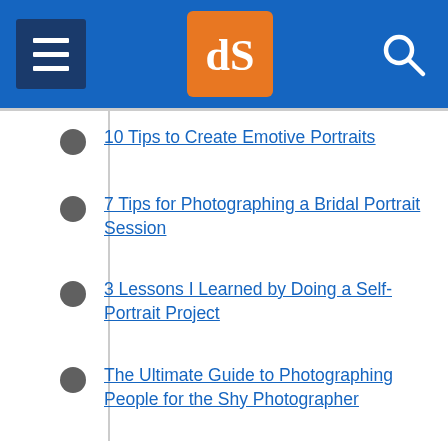dPS navigation header with menu and search
10 Tips to Create Emotive Portraits
7 Tips for Photographing a Bridal Portrait Session
3 Lessons I Learned by Doing a Self-Portrait Project
The Ultimate Guide to Photographing People for the Shy Photographer
Tips for Getting Yourself to Relax as a Photographer and Have More Successful Portrait Sessions